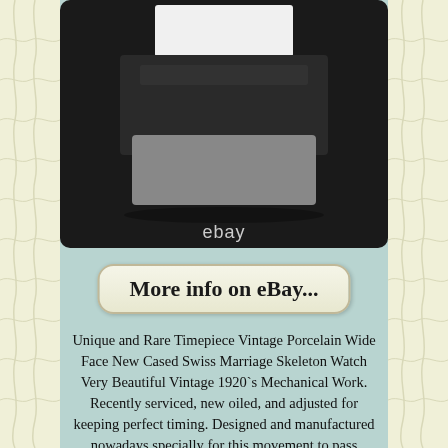[Figure (photo): A watch box photographed from above, showing a dark matte black case with a white inner tray/lid, and a gray lower portion. The eBay logo is visible in white text on the dark surface below the box.]
More info on eBay...
Unique and Rare Timepiece Vintage Porcelain Wide Face New Cased Swiss Marriage Skeleton Watch Very Beautiful Vintage 1920`s Mechanical Work. Recently serviced, new oiled, and adjusted for keeping perfect timing. Designed and manufactured nowadays specially for this movement to pass perfectly. Made from Steel with Mineral glasses installed on the front and back covers. Very good